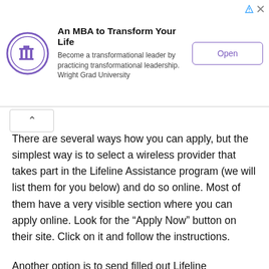[Figure (other): Advertisement banner for Wright Grad University MBA program with university seal logo, title 'An MBA to Transform Your Life', subtitle text, and an 'Open' button]
There are several ways how you can apply, but the simplest way is to select a wireless provider that takes part in the Lifeline Assistance program (we will list them for you below) and do so online. Most of them have a very visible section where you can apply online. Look for the “Apply Now” button on their site. Click on it and follow the instructions.
Another option is to send filled out Lifeline application to wireless provider’s physical address. In either case, you will need to have copies of proof of identity and proof of income/being part of a governmental program.
Free Government Phone